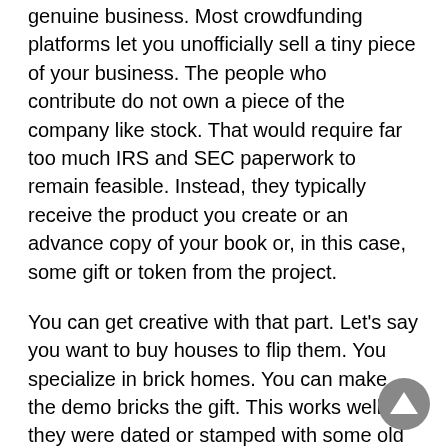genuine business. Most crowdfunding platforms let you unofficially sell a tiny piece of your business. The people who contribute do not own a piece of the company like stock. That would require far too much IRS and SEC paperwork to remain feasible. Instead, they typically receive the product you create or an advance copy of your book or, in this case, some gift or token from the project.
You can get creative with that part. Let's say you want to buy houses to flip them. You specialize in brick homes. You can make the demo bricks the gift. This works well if they were dated or stamped with some old brick company's name, etc. It makes the bricks memorabilia.